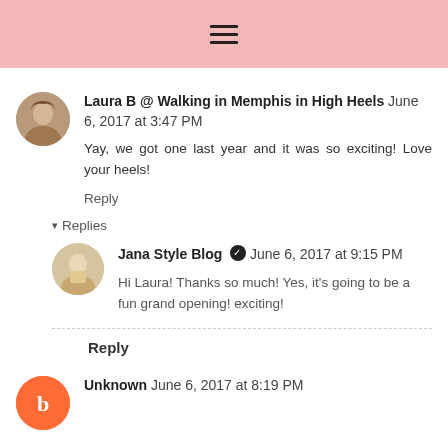≡
Laura B @ Walking in Memphis in High Heels  June 6, 2017 at 3:47 PM
Yay, we got one last year and it was so exciting! Love your heels!
Reply
▾ Replies
Jana Style Blog ✓  June 6, 2017 at 9:15 PM
Hi Laura! Thanks so much! Yes, it's going to be a fun grand opening! exciting!
Reply
Unknown  June 6, 2017 at 8:19 PM